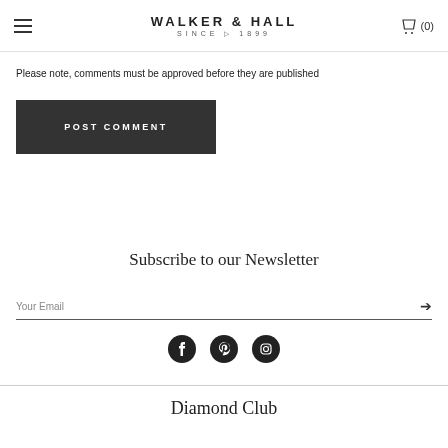WALKER & HALL SINCE 1899  (0)
Please note, comments must be approved before they are published
POST COMMENT
Subscribe to our Newsletter
Your Email
[Figure (other): Social media icons: Facebook, Pinterest, Instagram]
Diamond Club